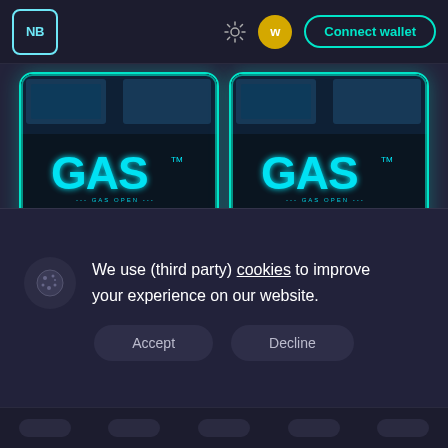[Figure (screenshot): Website header with NB logo, sun icon, coin icon, and Connect wallet button on dark background]
[Figure (illustration): Two NFT cards side by side showing GAS STATION STAKING CARD with cyberpunk futuristic gas station art, neon blue borders, and card details showing 1500 MT per day]
We use (third party) cookies to improve your experience on our website.
Accept
Decline